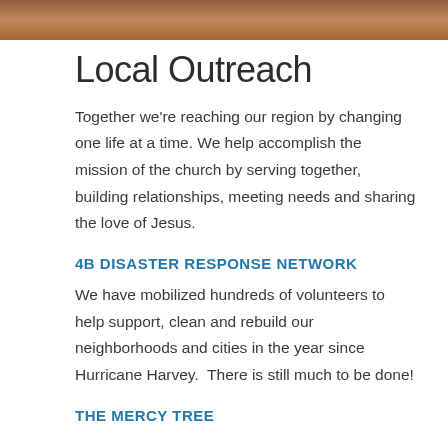[Figure (photo): Partial photo strip showing what appears to be a person's skin/hands at the top of the page]
Local Outreach
Together we're reaching our region by changing one life at a time. We help accomplish the mission of the church by serving together, building relationships, meeting needs and sharing the love of Jesus.
4B DISASTER RESPONSE NETWORK
We have mobilized hundreds of volunteers to help support, clean and rebuild our neighborhoods and cities in the year since Hurricane Harvey.  There is still much to be done!
THE MERCY TREE